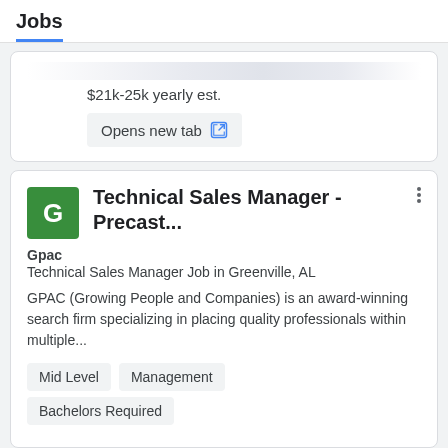Jobs
$21k-25k yearly est.
Opens new tab
Technical Sales Manager - Precast...
Gpac
Technical Sales Manager Job in Greenville, AL
GPAC (Growing People and Companies) is an award-winning search firm specializing in placing quality professionals within multiple...
Mid Level
Management
Bachelors Required